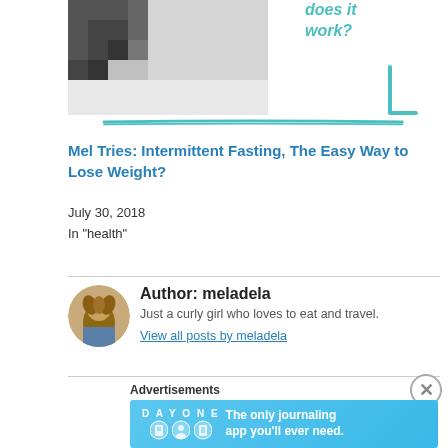[Figure (photo): Partial view of a staircase photo with teal handwritten text 'does it work?' and teal decorative underline stroke]
Mel Tries: Intermittent Fasting, The Easy Way to Lose Weight?
July 30, 2018
In "health"
[Figure (photo): Circular avatar photo of author meladela, a curly-haired woman]
Author: meladela
Just a curly girl who loves to eat and travel.
View all posts by meladela
Advertisements
[Figure (screenshot): Day One journaling app advertisement banner with text: The only journaling app you'll ever need.]